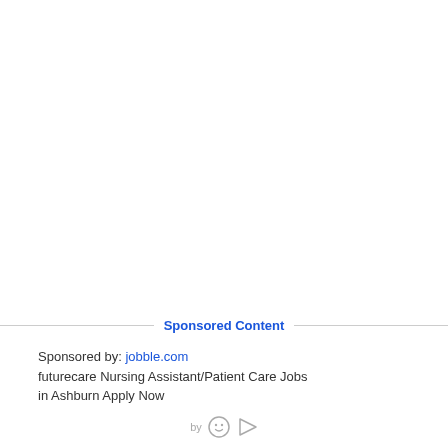Sponsored Content
Sponsored by: jobble.com
futurecare Nursing Assistant/Patient Care Jobs in Ashburn Apply Now
by [icon] [icon]